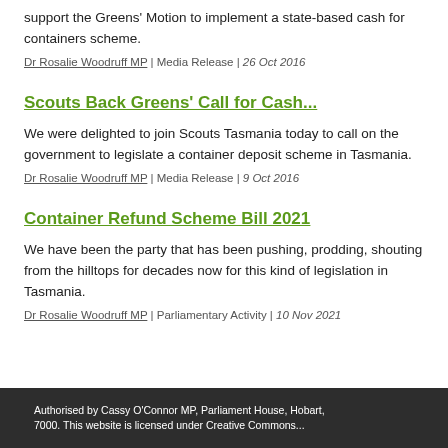support the Greens' Motion to implement a state-based cash for containers scheme.
Dr Rosalie Woodruff MP | Media Release | 26 Oct 2016
Scouts Back Greens' Call for Cash...
We were delighted to join Scouts Tasmania today to call on the government to legislate a container deposit scheme in Tasmania.
Dr Rosalie Woodruff MP | Media Release | 9 Oct 2016
Container Refund Scheme Bill 2021
We have been the party that has been pushing, prodding, shouting from the hilltops for decades now for this kind of legislation in Tasmania.
Dr Rosalie Woodruff MP | Parliamentary Activity | 10 Nov 2021
Authorised by Cassy O'Connor MP, Parliament House, Hobart, 7000. This website is licensed under Creative Commons...